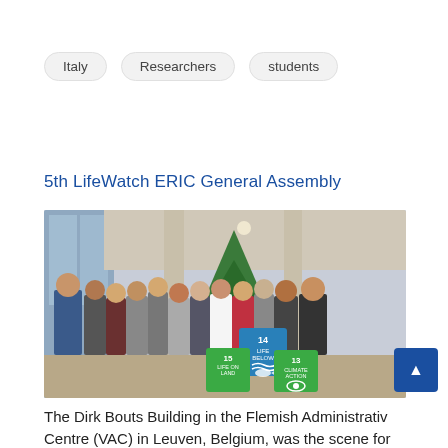Italy
Researchers
students
5th LifeWatch ERIC General Assembly
[Figure (photo): Group photo of approximately 15 people standing together in a modern building lobby with large windows, a Christmas tree in the background, and SDG cubes (goals 13, 14, 15) in the foreground.]
The Dirk Bouts Building in the Flemish Administrative Centre (VAC) in Leuven, Belgium, was the scene for the